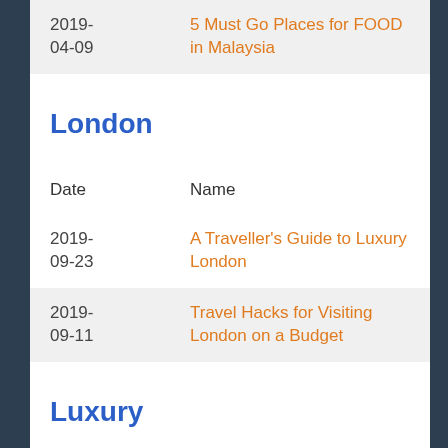| Date | Name |
| --- | --- |
| 2019-04-09 | 5 Must Go Places for FOOD in Malaysia |
London
| Date | Name |
| --- | --- |
| 2019-09-23 | A Traveller's Guide to Luxury London |
| 2019-09-11 | Travel Hacks for Visiting London on a Budget |
Luxury
| Date | Name |
| --- | --- |